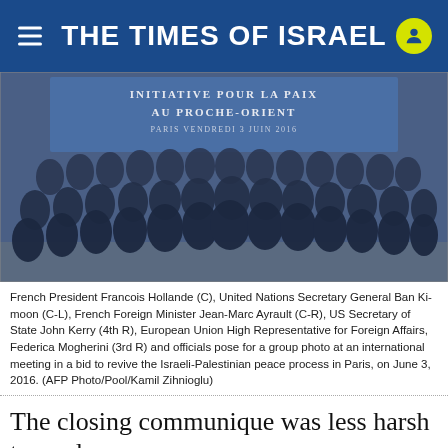THE TIMES OF ISRAEL
[Figure (photo): Group photo of international officials at Paris peace conference, June 3 2016, with banner reading INITIATIVE POUR LA PAIX AU PROCHE-ORIENT, PARIS VENDREDI 3 JUIN 2016]
French President Francois Hollande (C), United Nations Secretary General Ban Ki-moon (C-L), French Foreign Minister Jean-Marc Ayrault (C-R), US Secretary of State John Kerry (4th R), European Union High Representative for Foreign Affairs, Federica Mogherini (3rd R) and officials pose for a group photo at an international meeting in a bid to revive the Israeli-Palestinian peace process in Paris, on June 3, 2016. (AFP Photo/Pool/Kamil Zihnioglu)
The closing communique was less harsh toward